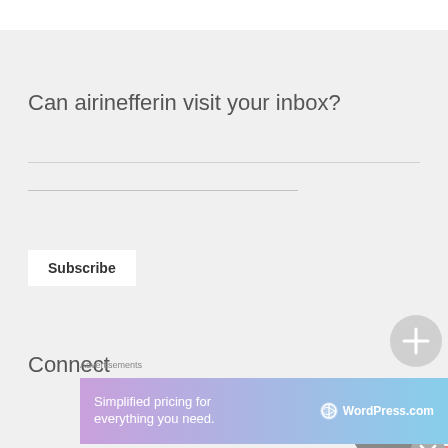Can airinefferin visit your inbox?
Subscribe
Connect
Advertisements
[Figure (screenshot): WordPress.com advertisement banner: 'Simplified pricing for everything you need.' with WordPress.com logo on gradient pink-to-blue background]
[Figure (infographic): USD button (salmon/red), plus circle button (light gray), up-arrow circle button (dark gray), and close X circle button (gray) on right side of page]